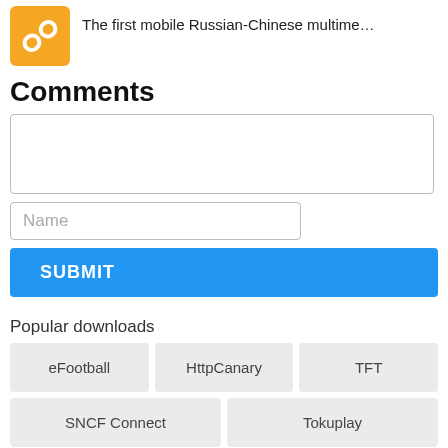[Figure (screenshot): Orange icon with chain/link symbol]
The first mobile Russian-Chinese multime…
Comments
[textarea comment box]
Name [input field]
SUBMIT [button]
Popular downloads
eFootball
HttpCanary
TFT
SNCF Connect
Tokuplay
Bucket Crusher
PlanetRomeo